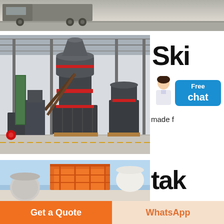[Figure (photo): Partial view of truck on road/yard, cropped at top of page]
[Figure (photo): Industrial factory interior showing large vertical grinding mill machines (dark grey/red) on factory floor with steel structure roof]
Ski
Free chat
made f
[Figure (photo): Bottom partial photo showing orange/red industrial structure against blue sky]
tak
Get a Quote
WhatsApp